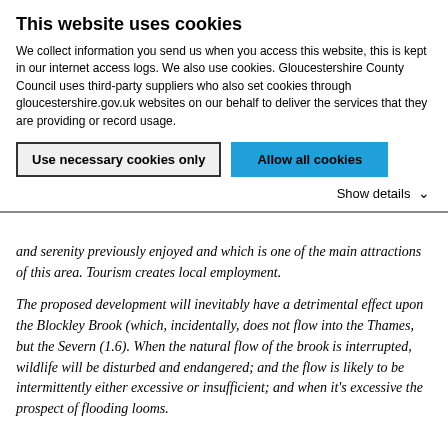This website uses cookies
We collect information you send us when you access this website, this is kept in our internet access logs. We also use cookies. Gloucestershire County Council uses third-party suppliers who also set cookies through gloucestershire.gov.uk websites on our behalf to deliver the services that they are providing or record usage.
Use necessary cookies only | Allow all cookies
Show details
and serenity previously enjoyed and which is one of the main attractions of this area. Tourism creates local employment.
The proposed development will inevitably have a detrimental effect upon the Blockley Brook (which, incidentally, does not flow into the Thames, but the Severn (1.6). When the natural flow of the brook is interrupted, wildlife will be disturbed and endangered; and the flow is likely to be intermittently either excessive or insufficient; and when it's excessive the prospect of flooding looms.